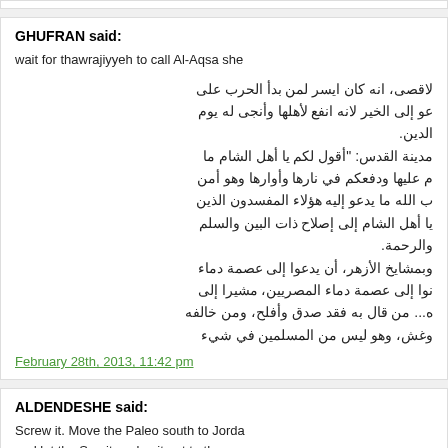GHUFRAN said:
wait for thawrajiyyeh to call Al-Aqsa she
Arabic text block (RTL)
February 28th, 2013, 11:42 pm
ALDENDESHE said:
Screw it. Move the Paleo south to Jorda and let the Semites slug it out to the en
February 28th, 2013, 11:56 pm
SYRIAN said: